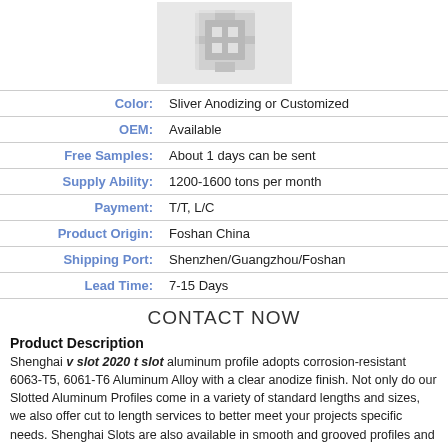[Figure (photo): Aluminum v slot 2020 t slot extrusion profile product photo showing a silver metallic extruded aluminum section]
| Color: | Sliver Anodizing or Customized |
| OEM: | Available |
| Free Samples: | About 1 days can be sent |
| Supply Ability: | 1200-1600 tons per month |
| Payment: | T/T, L/C |
| Product Origin: | Foshan China |
| Shipping Port: | Shenzhen/Guangzhou/Foshan |
| Lead Time: | 7-15 Days |
CONTACT NOW
Product Description
Shenghai v slot 2020 t slot aluminum profile adopts corrosion-resistant 6063-T5, 6061-T6 Aluminum Alloy with a clear anodize finish. Not only do our Slotted Aluminum Profiles come in a variety of standard lengths and sizes, we also offer cut to length services to better meet your projects specific needs. Shenghai Slots are also available in smooth and grooved profiles and a variety of colors.
Product Details